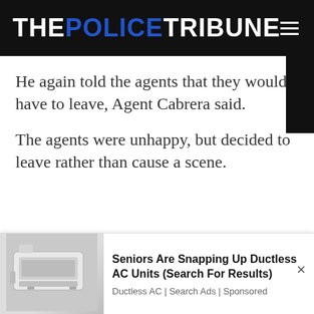THE POLICE TRIBUNE
He again told the agents that they would have to leave, Agent Cabrera said.
The agents were unhappy, but decided to leave rather than cause a scene.
[Figure (advertisement): Ad banner with image of ductless AC unit on the left and text on the right reading 'Seniors Are Snapping Up Ductless AC Units (Search For Results)' with subtext 'Ductless AC | Search Ads | Sponsored']